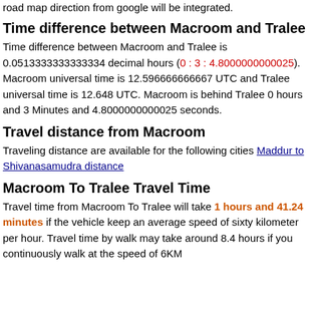road map direction from google will be integrated.
Time difference between Macroom and Tralee
Time difference between Macroom and Tralee is 0.0513333333333334 decimal hours (0 : 3 : 4.8000000000025). Macroom universal time is 12.596666666667 UTC and Tralee universal time is 12.648 UTC. Macroom is behind Tralee 0 hours and 3 Minutes and 4.8000000000025 seconds.
Travel distance from Macroom
Traveling distance are available for the following cities Maddur to Shivanasamudra distance
Macroom To Tralee Travel Time
Travel time from Macroom To Tralee will take 1 hours and 41.24 minutes if the vehicle keep an average speed of sixty kilometer per hour. Travel time by walk may take around 8.4 hours if you continuously walk at the speed of 6KM.